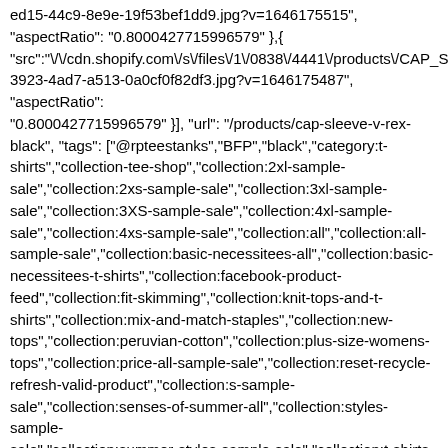ed15-44c9-8e9e-19f53bef1dd9.jpg?v=1646175515", "aspectRatio": "0.8000427715996579" },{ "src":"\/\/cdn.shopify.com\/s\/files\/1\/0838\/4441\/products\/CAP_S...3923-4ad7-a513-0a0cf0f82df3.jpg?v=1646175487", "aspectRatio": "0.8000427715996579" }], "url": "/products/cap-sleeve-v-rex-black", "tags": ["@rpteestanks","BFP","black","category:t-shirts","collection-tee-shop","collection:2xl-sample-sale","collection:2xs-sample-sale","collection:3xl-sample-sale","collection:3XS-sample-sale","collection:4xl-sample-sale","collection:4xs-sample-sale","collection:all","collection:all-sample-sale","collection:basic-necessitees-all","collection:basic-necessitees-t-shirts","collection:facebook-product-feed","collection:fit-skimming","collection:knit-tops-and-t-shirts","collection:mix-and-match-staples","collection:new-tops","collection:peruvian-cotton","collection:plus-size-womens-tops","collection:price-all-sample-sale","collection:reset-recycle-refresh-valid-product","collection:s-sample-sale","collection:senses-of-summer-all","collection:styles-sample-sale","collection:summer-styles-sample-sale","collection:t-shirts-sample-sale","collection:tax-clothing","collection:tee-party","collection:tee-shop-short-sleeve","collection:tee-shop-v-neck","collection:tops","collection:tops-short-sleeve","collection:under-100","collection:under-60","collection:xs-sample-sale","color:black","finale-sale","hide:percentoff","hide:siivs","instock: 2XS_6-8","instock: